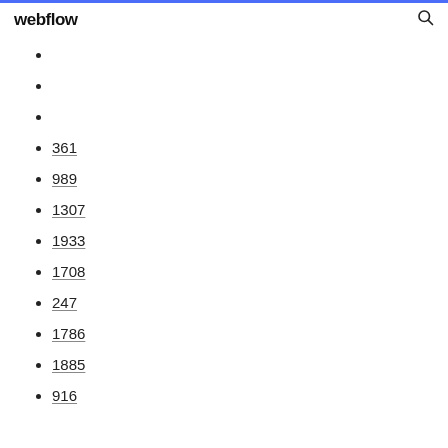webflow
361
989
1307
1933
1708
247
1786
1885
916